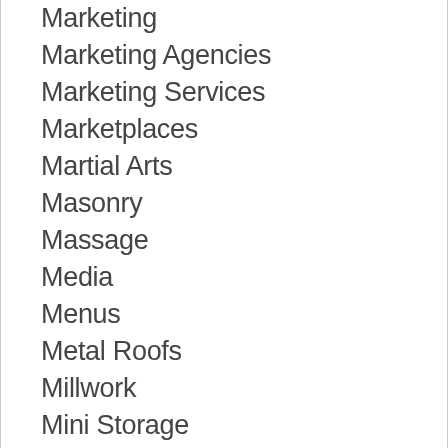Marketing
Marketing Agencies
Marketing Services
Marketplaces
Martial Arts
Masonry
Massage
Media
Menus
Metal Roofs
Millwork
Mini Storage
Mold Removal
Mold Solutions
Mortgage Services